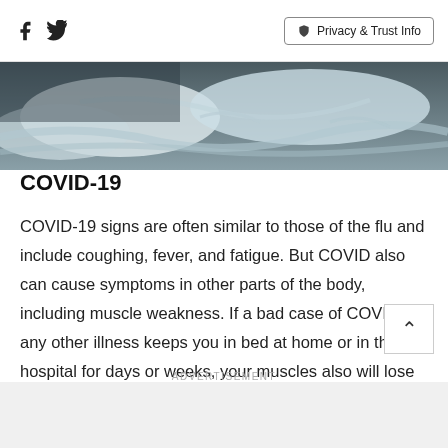Facebook Twitter | Privacy & Trust Info
[Figure (photo): Unmade bed with rumpled white/grey bedding and pillows, dimly lit — suggesting illness or rest]
COVID-19
COVID-19 signs are often similar to those of the flu and include coughing, fever, and fatigue. But COVID also can cause symptoms in other parts of the body, including muscle weakness. If a bad case of COVID or any other illness keeps you in bed at home or in the hospital for days or weeks, your muscles also will lose strength fast. Physical therapy or exercises you do at home will help you get your strength back.
ADVERTISEMENT